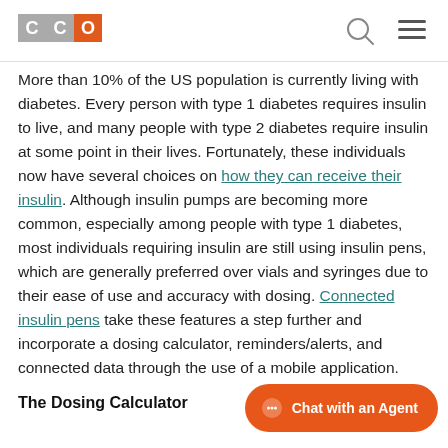CCO [logo with search and menu icons]
More than 10% of the US population is currently living with diabetes. Every person with type 1 diabetes requires insulin to live, and many people with type 2 diabetes require insulin at some point in their lives. Fortunately, these individuals now have several choices on how they can receive their insulin. Although insulin pumps are becoming more common, especially among people with type 1 diabetes, most individuals requiring insulin are still using insulin pens, which are generally preferred over vials and syringes due to their ease of use and accuracy with dosing. Connected insulin pens take these features a step further and incorporate a dosing calculator, reminders/alerts, and connected data through the use of a mobile application.
The Dosing Calculator